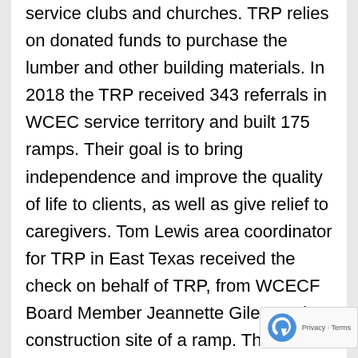service clubs and churches. TRP relies on donated funds to purchase the lumber and other building materials. In 2018 the TRP received 343 referrals in WCEC service territory and built 175 ramps. Their goal is to bring independence and improve the quality of life to clients, as well as give relief to caregivers. Tom Lewis area coordinator for TRP in East Texas received the check on behalf of TRP, from WCECF Board Member Jeannette Giles, at the construction site of a ramp. The $2,500 check they were awarded will fund the materials for four ramps. Lewis said, “We would not be able to provide the joy and relief these ramps bring to our clients without the financial support. We are very